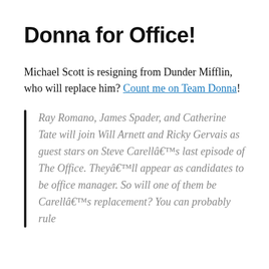Donna for Office!
Michael Scott is resigning from Dunder Mifflin, who will replace him? Count me on Team Donna!
Ray Romano, James Spader, and Catherine Tate will join Will Arnett and Ricky Gervais as guest stars on Steve Carellâ€™s last episode of The Office. Theyâ€™ll appear as candidates to be office manager. So will one of them be Carellâ€™s replacement? You can probably rule